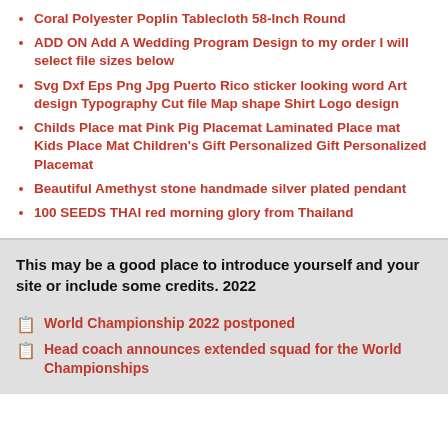Coral Polyester Poplin Tablecloth 58-Inch Round
ADD ON Add A Wedding Program Design to my order I will select file sizes below
Svg Dxf Eps Png Jpg Puerto Rico sticker looking word Art design Typography Cut file Map shape Shirt Logo design
Childs Place mat Pink Pig Placemat Laminated Place mat Kids Place Mat Children's Gift Personalized Gift Personalized Placemat
Beautiful Amethyst stone handmade silver plated pendant
100 SEEDS THAI red morning glory from Thailand
This may be a good place to introduce yourself and your site or include some credits. 2022
World Championship 2022 postponed
Head coach announces extended squad for the World Championships